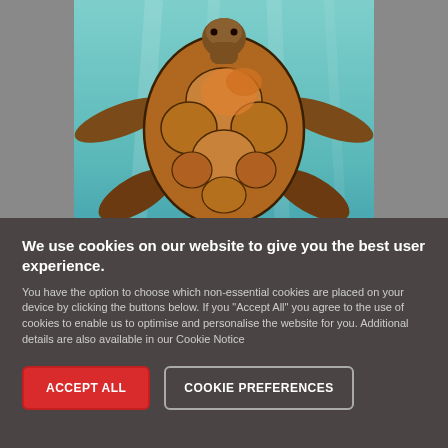[Figure (illustration): Illustration of a sea turtle swimming underwater, viewed from above. The turtle has a brown/orange patterned shell with darker outlines, brown flippers, and is set against a teal/blue-green water background with subtle light rays.]
The shiny shades of Graphitint make underwater
We use cookies on our website to give you the best user experience. You have the option to choose which non-essential cookies are placed on your device by clicking the buttons below. If you "Accept All" you agree to the use of cookies to enable us to optimise and personalise the website for you. Additional details are also available in our Cookie Notice
ACCEPT ALL
COOKIE PREFERENCES